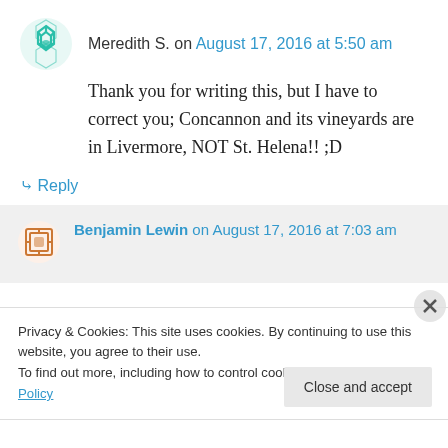Meredith S. on August 17, 2016 at 5:50 am
Thank you for writing this, but I have to correct you; Concannon and its vineyards are in Livermore, NOT St. Helena!! ;D
↳ Reply
Benjamin Lewin on August 17, 2016 at 7:03 am
Privacy & Cookies: This site uses cookies. By continuing to use this website, you agree to their use.
To find out more, including how to control cookies, see here: Cookie Policy